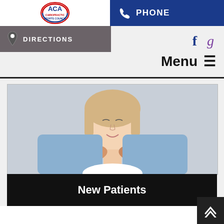[Figure (logo): ACA Chiropractic Sports Council logo with phone icon and PHONE text on blue header bar]
DIRECTIONS
f  g
Menu ≡
[Figure (photo): Chiropractor performing neck adjustment on a young woman patient with eyes closed, smiling, relaxed expression]
New Patients